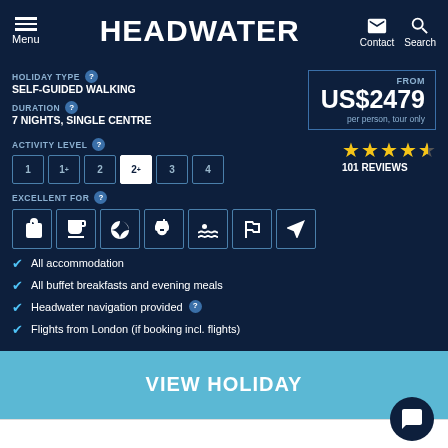HEADWATER — Menu | Contact | Search
HOLIDAY TYPE
SELF-GUIDED WALKING
FROM
US$2479
per person, tour only
DURATION
7 NIGHTS, SINGLE CENTRE
ACTIVITY LEVEL  1  1+  2  2+  3  4
101 REVIEWS
EXCELLENT FOR
All accommodation
All buffet breakfasts and evening meals
Headwater navigation provided
Flights from London (if booking incl. flights)
VIEW HOLIDAY